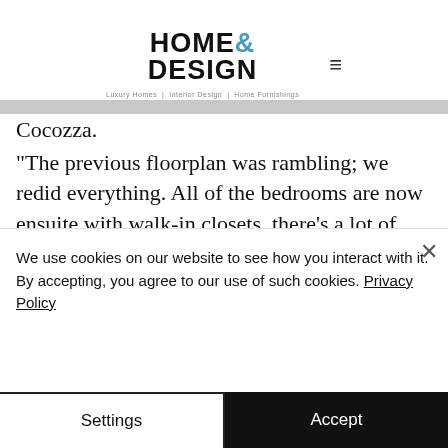HOME & DESIGN — Luxury Homes | Interior Design | Home Furnishings
Cocozza.
“The previous floorplan was rambling; we redid everything. All of the bedrooms are now ensuite with walk-in closets, there’s a lot of outdoor living area, the docks were redone, it’s better than a resort! The house was brought up to hurricane code. The owner
We use cookies on our website to see how you interact with it. By accepting, you agree to our use of such cookies. Privacy Policy